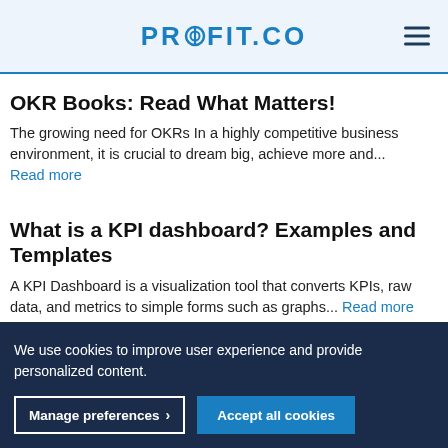PROFIT.CO
OKR Books: Read What Matters!
The growing need for OKRs In a highly competitive business environment, it is crucial to dream big, achieve more and... Read more
What is a KPI dashboard? Examples and Templates
A KPI Dashboard is a visualization tool that converts KPIs, raw data, and metrics to simple forms such as graphs... Read more
We use cookies to improve user experience and provide personalized content.